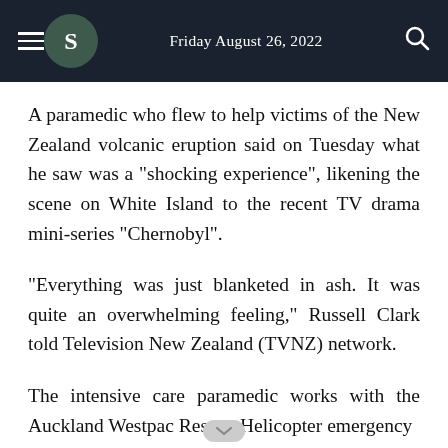Friday August 26, 2022
A paramedic who flew to help victims of the New Zealand volcanic eruption said on Tuesday what he saw was a "shocking experience", likening the scene on White Island to the recent TV drama mini-series "Chernobyl".
"Everything was just blanketed in ash. It was quite an overwhelming feeling," Russell Clark told Television New Zealand (TVNZ) network.
The intensive care paramedic works with the Auckland Westpac Rescue Helicopter emergency